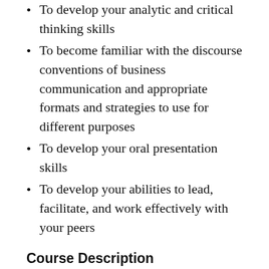To develop your analytic and critical thinking skills
To become familiar with the discourse conventions of business communication and appropriate formats and strategies to use for different purposes
To develop your oral presentation skills
To develop your abilities to lead, facilitate, and work effectively with your peers
Course Description
This section of English 105i focuses on business writing as a discourse community. We will explore the purposes and perspectives of business communication and how they shape the ways members of the community write. For example, a CEO's letter to stockholders will exhibit different strategies than a mid-management letter outlining a new required policy to company employees. The purpose and the intended audience of the message shape the genre and strategies employed to most